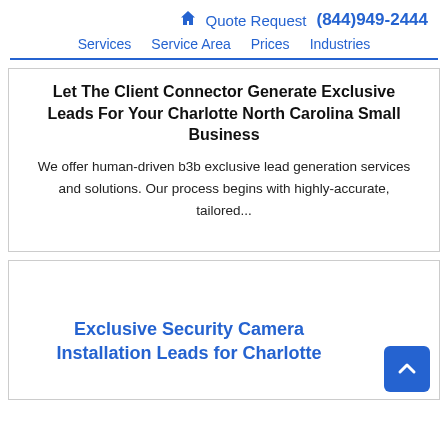🏠 Quote Request (844)949-2444
Services  Service Area  Prices  Industries
Let The Client Connector Generate Exclusive Leads For Your Charlotte North Carolina Small Business
We offer human-driven b3b exclusive lead generation services and solutions. Our process begins with highly-accurate, tailored...
Exclusive Security Camera Installation Leads for Charlotte